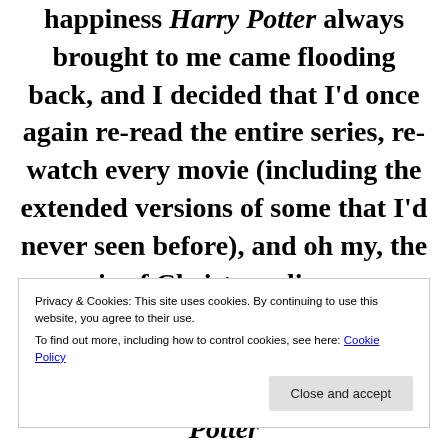happiness Harry Potter always brought to me came flooding back, and I decided that I'd once again re-read the entire series, re-watch every movie (including the extended versions of some that I'd never seen before), and oh my, the magic of Christmas lives once again. And with
Privacy & Cookies: This site uses cookies. By continuing to use this website, you agree to their use.
To find out more, including how to control cookies, see here: Cookie Policy
since I haven't posted about Harry Potter